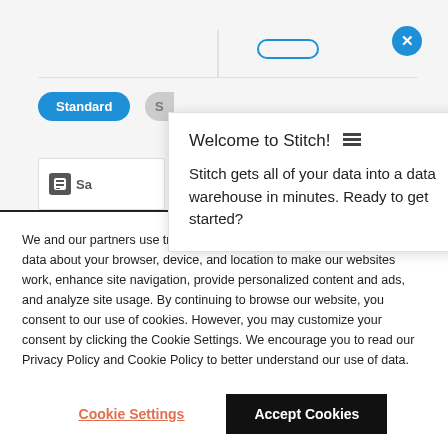[Figure (screenshot): Background web page showing Standard tab selected, a close X button, and a partial card with logo]
Welcome to Stitch! [icon]
Stitch gets all of your data into a data warehouse in minutes. Ready to get started?
We and our partners use tracking technologies such as cookies to collect data about your browser, device, and location to make our websites work, enhance site navigation, provide personalized content and ads, and analyze site usage. By continuing to browse our website, you consent to our use of cookies. However, you may customize your consent by clicking the Cookie Settings. We encourage you to read our Privacy Policy and Cookie Policy to better understand our use of data.
Cookie Settings
Accept Cookies